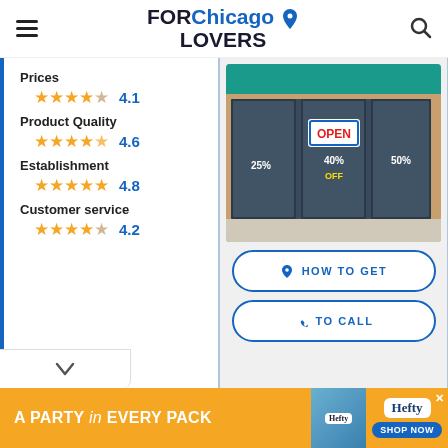FOR Chicago LOVERS
Prices
4.1 — 4 stars (Prices)
Product Quality
4.6 — 4.5 stars (Product Quality)
Establishment
4.8 — 5 stars (Establishment)
Customer service
4.2 — 4 stars (Customer service)
[Figure (photo): Storefront of a shop with an OPEN sign and sale signage in the windows, showing 25%, 40%, 25%, 50% off deals.]
HOW TO GET
TO CALL
[Figure (infographic): Hefty brand advertisement: orange background with text 'A PARTY in EVERY PACK', Hefty #1 Party Cup product image, Hefty logo, and SHOP NOW button.]